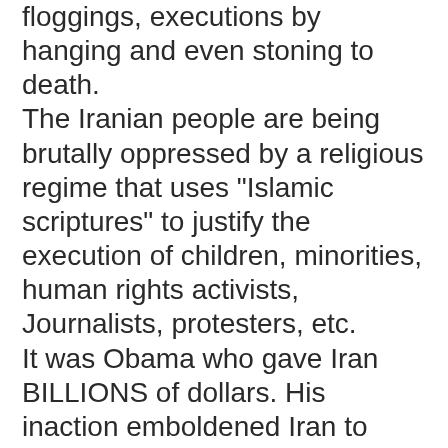floggings, executions by hanging and even stoning to death.
The Iranian people are being brutally oppressed by a religious regime that uses "Islamic scriptures" to justify the execution of children, minorities, human rights activists, Journalists, protesters, etc.
It was Obama who gave Iran BILLIONS of dollars. His inaction emboldened Iran to become the problem we have to deal with today.
Obama's Iran Deal was a disaster: It allowed Iran to keep their nuclear infrastructure. It relieved sanctions and delivered billions in cash to a rogue regime.
It all but guaranteed a nuclear Iran in less